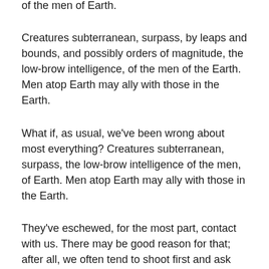of the men of Earth.
Creatures subterranean, surpass, by leaps and bounds, and possibly orders of magnitude, the low-brow intelligence, of the men of the Earth. Men atop Earth may ally with those in the Earth.
What if, as usual, we've been wrong about most everything? Creatures subterranean, surpass, the low-brow intelligence of the men, of Earth. Men atop Earth may ally with those in the Earth.
They've eschewed, for the most part, contact with us. There may be good reason for that; after all, we often tend to shoot first and ask questions later. They may have noticed that.